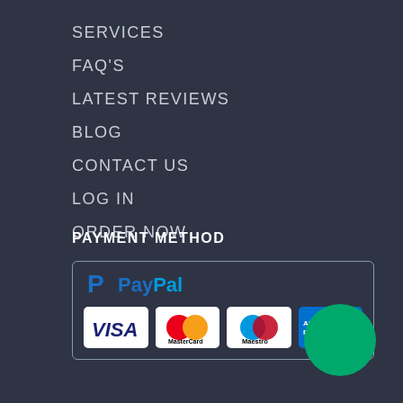SERVICES
FAQ'S
LATEST REVIEWS
BLOG
CONTACT US
LOG IN
ORDER NOW
PAYMENT METHOD
[Figure (logo): PayPal logo with blue P icon and PayPal text in blue]
[Figure (logo): Payment card logos: VISA, MasterCard, Maestro, American Express inside a rounded border box]
[Figure (other): Green circle button in bottom right]